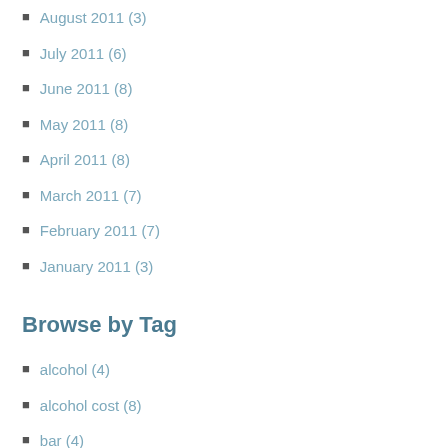August 2011 (3)
July 2011 (6)
June 2011 (8)
May 2011 (8)
April 2011 (8)
March 2011 (7)
February 2011 (7)
January 2011 (3)
Browse by Tag
alcohol (4)
alcohol cost (8)
bar (4)
bar business (33)
bar control (18)
bar design (8)